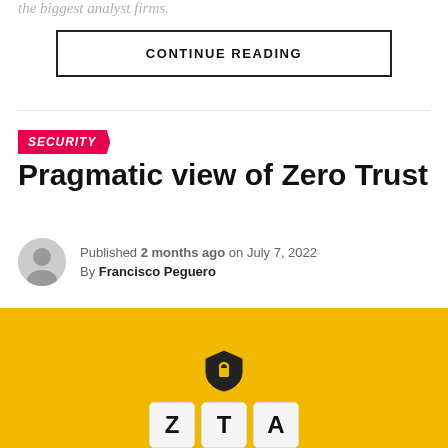the biggest analyst firms.
CONTINUE READING
SECURITY
Pragmatic view of Zero Trust
Published 2 months ago on July 7, 2022
By Francisco Peguero
[Figure (photo): Yellow background with ZTA letter blocks and a shield lock icon above them]